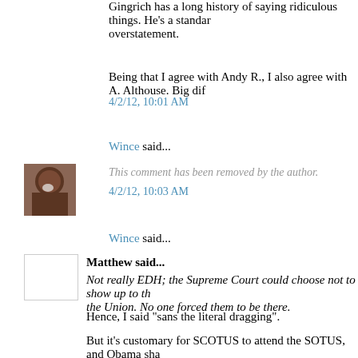Gingrich has a long history of saying ridiculous things. He's a standard overstatement.
Being that I agree with Andy R., I also agree with A. Althouse. Big dif
4/2/12, 10:01 AM
Wince said...
This comment has been removed by the author.
4/2/12, 10:03 AM
Wince said...
Matthew said...
Not really EDH; the Supreme Court could choose not to show up to th the Union. No one forced them to be there.
Hence, I said "sans the literal dragging".
But it's customary for SCOTUS to attend the SOTUS, and Obama sha them.